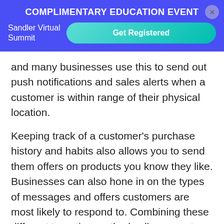COMPLIMENTARY EDUCATION EVENT
Sandler Virtual Summit
Get Registered
and many businesses use this to send out push notifications and sales alerts when a customer is within range of their physical location.
Keeping track of a customer's purchase history and habits also allows you to send them offers on products you know they like. Businesses can also hone in on the types of messages and offers customers are most likely to respond to. Combining these different targeting methods allows you to send out specific messages that have higher chances to result in sales.
Close a Sale with SMS
No matter how you've started a sales process